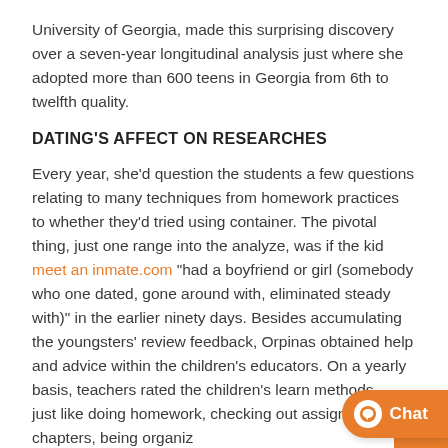University of Georgia, made this surprising discovery over a seven-year longitudinal analysis just where she adopted more than 600 teens in Georgia from 6th to twelfth quality.
DATING'S AFFECT ON RESEARCHES
Every year, she'd question the students a few questions relating to many techniques from homework practices to whether they'd tried using container. The pivotal thing, just one range into the analyze, was if the kid meet an inmate.com "had a boyfriend or girl (somebody who one dated, gone around with, eliminated steady with)" in the earlier ninety days. Besides accumulating the youngsters' review feedback, Orpinas obtained help and advice within the children's educators. On a yearly basis, teachers rated the children's learn methods — just like doing homework, checking out assigned chapters, being organiz... creating extra credit work — from large to reduced.